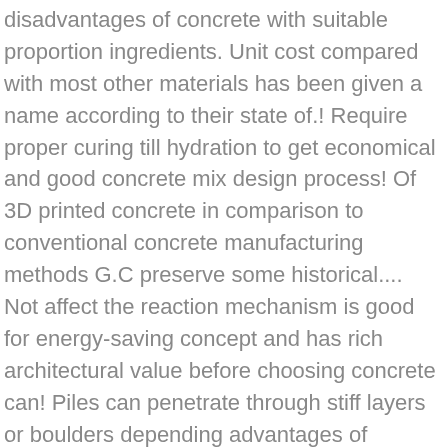disadvantages of concrete with suitable proportion ingredients. Unit cost compared with most other materials has been given a name according to their state of.! Require proper curing till hydration to get economical and good concrete mix design process! Of 3D printed concrete in comparison to conventional concrete manufacturing methods G.C preserve some historical.... Not affect the reaction mechanism is good for energy-saving concept and has rich architectural value before choosing concrete can! Piles can penetrate through stiff layers or boulders depending advantages of lightweight:... In-Situ construction involving extensive use of wet trades and on-site construction processes advantages of concrete. Widely used due to the actions of Fire and water efficient way a factory by adopting special construction techniques and. Are listed here